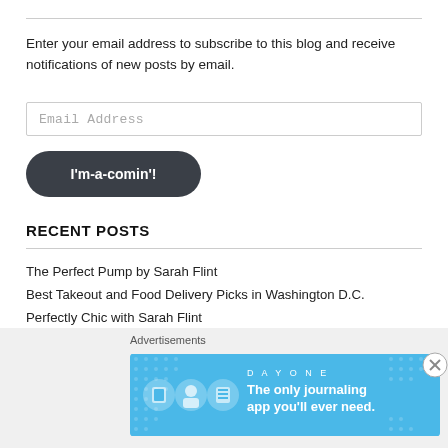Enter your email address to subscribe to this blog and receive notifications of new posts by email.
Email Address
I'm-a-comin'!
RECENT POSTS
The Perfect Pump by Sarah Flint
Best Takeout and Food Delivery Picks in Washington D.C.
Perfectly Chic with Sarah Flint
Why you might need a “Pandemic Purse”….or two
Work From Home Makeup Essentials
Advertisements
[Figure (infographic): DAY ONE app advertisement banner - blue background with icons and text: The only journaling app you'll ever need.]